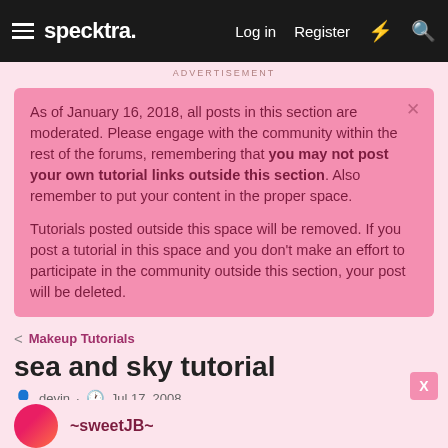specktra.   Log in   Register
ADVERTISEMENT
As of January 16, 2018, all posts in this section are moderated. Please engage with the community within the rest of the forums, remembering that you may not post your own tutorial links outside this section. Also remember to put your content in the proper space.

Tutorials posted outside this space will be removed. If you post a tutorial in this space and you don't make an effort to participate in the community outside this section, your post will be deleted.
< Makeup Tutorials
sea and sky tutorial
devin · Jul 17, 2008
~sweetJB~